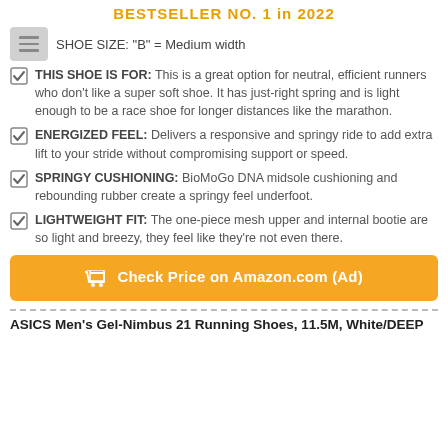BESTSELLER NO. 1 in 2022
SHOE SIZE: "B" = Medium width
THIS SHOE IS FOR: This is a great option for neutral, efficient runners who don't like a super soft shoe. It has just-right spring and is light enough to be a race shoe for longer distances like the marathon.
ENERGIZED FEEL: Delivers a responsive and springy ride to add extra lift to your stride without compromising support or speed.
SPRINGY CUSHIONING: BioMoGo DNA midsole cushioning and rebounding rubber create a springy feel underfoot.
LIGHTWEIGHT FIT: The one-piece mesh upper and internal bootie are so light and breezy, they feel like they're not even there.
Check Price on Amazon.com (Ad)
ASICS Men's Gel-Nimbus 21 Running Shoes, 11.5M, White/DEEP